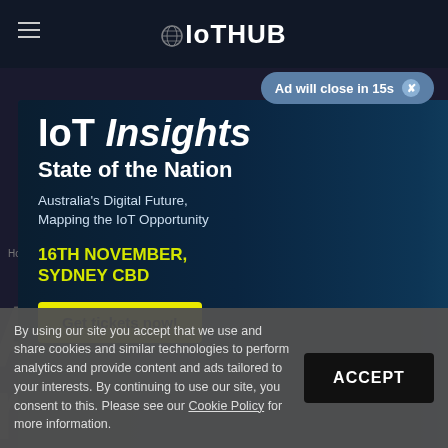IoTHUB
Ad will close in 15s
[Figure (illustration): IoT Insights State of the Nation advertisement banner featuring two engineers wearing hard hats, with a glowing turbine/gear digital element. Text: IoT Insights, State of the Nation, Australia's Digital Future, Mapping the IoT Opportunity, 16TH NOVEMBER, SYDNEY CBD, Get tickets now!]
By using our site you accept that we use and share cookies and similar technologies to perform analytics and provide content and ads tailored to your interests. By continuing to use our site, you consent to this. Please see our Cookie Policy for more information.
ACCEPT